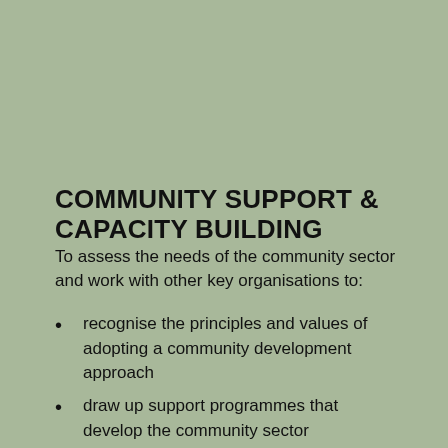COMMUNITY SUPPORT & CAPACITY BUILDING
To assess the needs of the community sector and work with other key organisations to:
recognise the principles and values of adopting a community development approach
draw up support programmes that develop the community sector
plan projects that lead to more